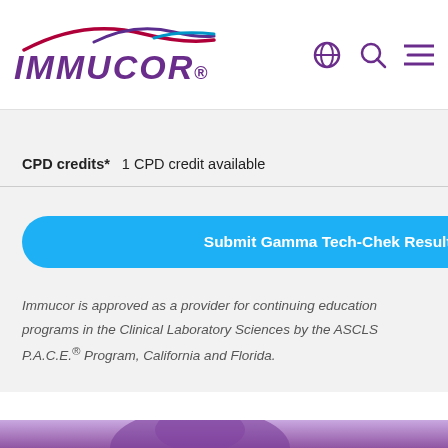IMMUCOR
CPD credits* 1 CPD credit available 2 CP
Submit Gamma Tech-Chek Results | Su
Immucor is approved as a provider for continuing education programs in the Clinical Laboratory Sciences by the ASCLS P.A.C.E.® Program, California and Florida.
[Figure (photo): Purple-tinted image of a person viewed from behind, bottom portion of page]